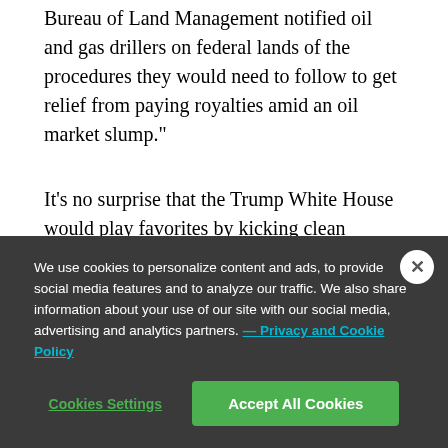Bureau of Land Management notified oil and gas drillers on federal lands of the procedures they would need to follow to get relief from paying royalties amid an oil market slump."
It’s no surprise that the Trump White House would play favorites by kicking clean energy when it’s down. What is surprising is just how strong and well-positioned clean energy remains despite its poor treatment by the
We use cookies to personalize content and ads, to provide social media features and to analyze our traffic. We also share information about your use of our site with our social media, advertising and analytics partners. — Privacy and Cookie Policy
Cookies Settings
Accept All Cookies